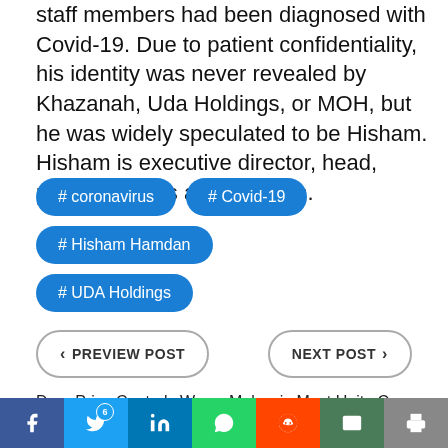staff members had been diagnosed with Covid-19. Due to patient confidentiality, his identity was never revealed by Khazanah, Uda Holdings, or MOH, but he was widely speculated to be Hisham. Hisham is executive director, head, public markets at Khazanah.
# coronavirus
# Covid-19
# Hisham Hamdan
# UDA Holdings
PREVIEW POST
NEXT POST
Drug Price Controls Won't
Malaysia Must Unite Covid